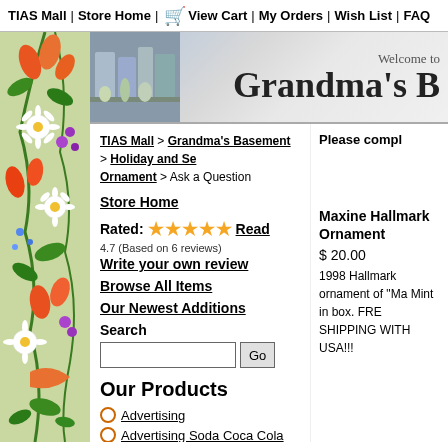TIAS Mall | Store Home | View Cart | My Orders | Wish List | FAQ
[Figure (illustration): Floral border with colorful flowers including daisies, orange lilies, and mixed blooms on left side]
[Figure (illustration): Grandma's Basement store banner with Welcome to Grandma's B text and shop photo]
TIAS Mall > Grandma's Basement > Holiday and Se... Ornament > Ask a Question
Store Home
Rated: 4.7 (Based on 6 reviews) Read Write your own review
Browse All Items
Our Newest Additions
Search
Our Products
Advertising
Advertising Soda Coca Cola
Afghans and Quilts
Anchor Hocking
Arkansas Quartz Crystals
Please compl
Maxine Hallmark Ornament
$ 20.00
1998 Hallmark ornament of "Ma Mint in box. FRE SHIPPING WITH USA!!!